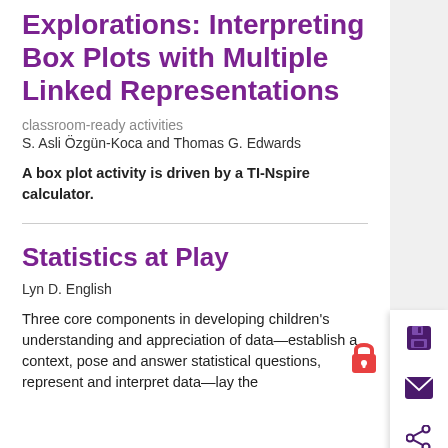Explorations: Interpreting Box Plots with Multiple Linked Representations
classroom-ready activities
S. Asli Özgün-Koca and Thomas G. Edwards
A box plot activity is driven by a TI-Nspire calculator.
Statistics at Play
Lyn D. English
Three core components in developing children's understanding and appreciation of data—establish a context, pose and answer statistical questions, represent and interpret data—lay the